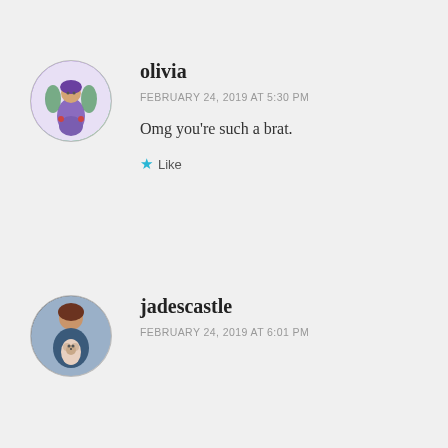olivia
FEBRUARY 24, 2019 AT 5:30 PM
Omg you’re such a brat.
Like
jadescastle
FEBRUARY 24, 2019 AT 6:01 PM